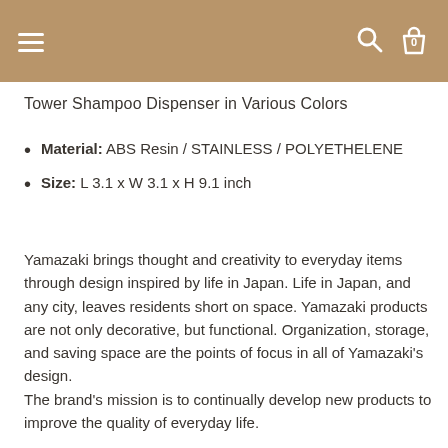Tower Shampoo Dispenser in Various Colors
Material: ABS Resin / STAINLESS / POLYETHELENE
Size: L 3.1 x W 3.1 x H 9.1 inch
Yamazaki brings thought and creativity to everyday items through design inspired by life in Japan. Life in Japan, and any city, leaves residents short on space. Yamazaki products are not only decorative, but functional. Organization, storage, and saving space are the points of focus in all of Yamazaki's design.
The brand's mission is to continually develop new products to improve the quality of everyday life.